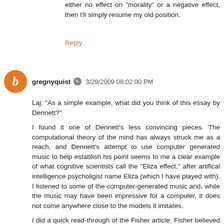either no effect on "morality" or a negative effect, then I'll simply resume my old position.
Reply
gregnyquist 3/29/2009 08:02:00 PM
Laj: "As a simple example, what did you think of this essay by Dennett?"
I found it one of Dennett's less convincing pieces. The computational theory of the mind has always struck me as a reach, and Dennett's attempt to use computer generated music to help establish his point seems to me a clear example of what cognitive scientists call the "Eliza effect," after artifical intelligence psycholigist name Eliza (which I have played with). I listened to some of the computer-generated music and, while the music may have been impressive for a computer, it does not come anywhere close to the models it imitates.
I did a quick read-through of the Fisher article. Fisher believed (apparently as result of his Deft-Deflation theory)